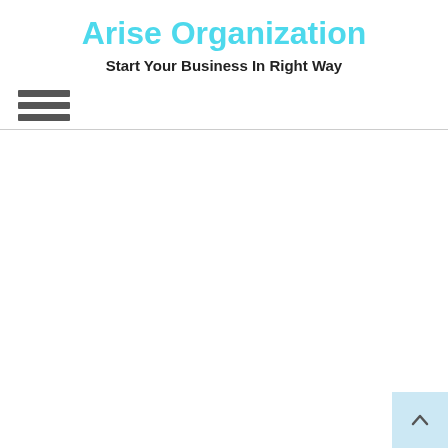Arise Organization
Start Your Business In Right Way
[Figure (other): Hamburger menu icon with three horizontal dark gray bars]
[Figure (other): Scroll-to-top button in light blue square at bottom right with an upward-pointing chevron arrow]